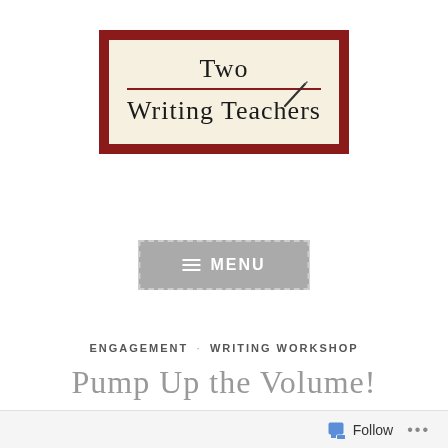[Figure (logo): Two Writing Teachers blog logo: dark red bordered rectangle with cream background, text 'Two Writing Teachers' with a red horizontal rule and pen/pencil illustration]
[Figure (other): Gray MENU button with hamburger icon and dashed border]
ENGAGEMENT · WRITING WORKSHOP
Pump Up the Volume!
Follow ...